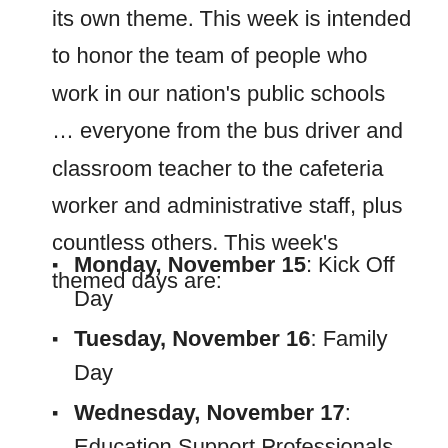its own theme. This week is intended to honor the team of people who work in our nation's public schools … everyone from the bus driver and classroom teacher to the cafeteria worker and administrative staff, plus countless others. This week's themed days are:
Monday, November 15: Kick Off Day
Tuesday, November 16: Family Day
Wednesday, November 17: Education Support Professionals Day
Thursday, November 18: Educator for a Day
Friday, November 19: Substitute Educator Day